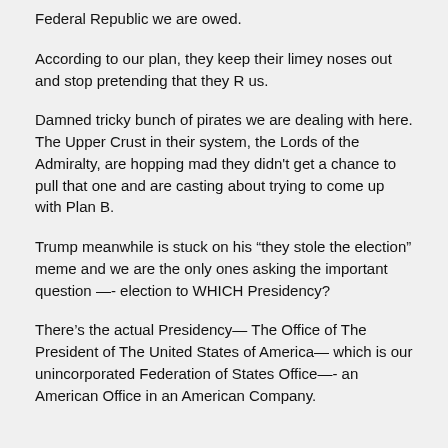Federal Republic we are owed.
According to our plan, they keep their limey noses out and stop pretending that they R us.
Damned tricky bunch of pirates we are dealing with here. The Upper Crust in their system, the Lords of the Admiralty, are hopping mad they didn't get a chance to pull that one and are casting about trying to come up with Plan B.
Trump meanwhile is stuck on his “they stole the election” meme and we are the only ones asking the important question —- election to WHICH Presidency?
There’s the actual Presidency— The Office of The President of The United States of America— which is our unincorporated Federation of States Office—- an American Office in an American Company.